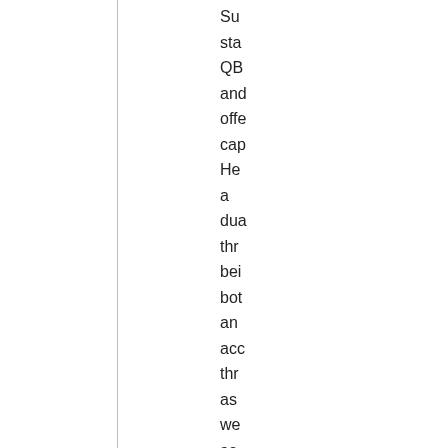Su sta QB and offe cap He a dua thr bei bot an acc thr as we as a spe scr Wit bac Lar Kle